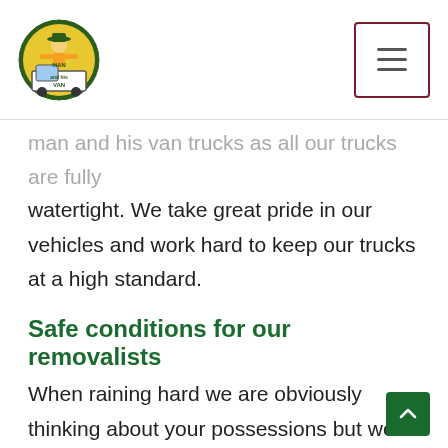Man and His Van logo and hamburger menu
man and his van trucks as all our trucks are fully watertight. We take great pride in our vehicles and work hard to keep our trucks at a high standard.
Safe conditions for our removalists
When raining hard we are obviously thinking about your possessions but we must also be aware of safety for our removalists. Pathways can often be slippery in the wet so we must be extra cautious with our footing. There might even be some large items which are simply too dangerous to load with a